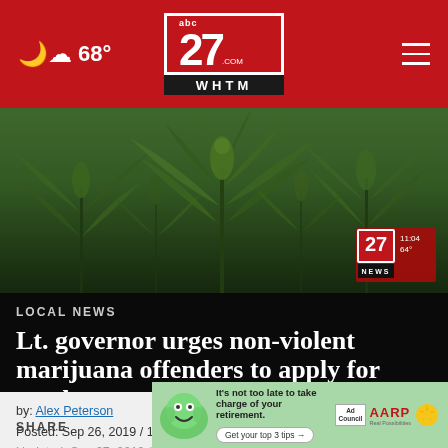abc27 WHTM — 68° — navigation header
[Figure (screenshot): Hero image of cannabis marijuana plant in close-up, green leaves, with ABC27 News watermark overlay showing 11:04, 64°]
LOCAL NEWS
Lt. governor urges non-violent marijuana offenders to apply for pardon
by: Alex Peterson
Posted: Sep 26, 2019 / 11:21 PM EDT
Updated: Sep 27, 2019 / 09:24 AM EDT
[Figure (infographic): AARP advertisement banner: It's not too late to take charge of your retirement. Get your top 3 tips →  Ad Council  AARP Real Possibilities  with green mascot and sun icon]
SHARE